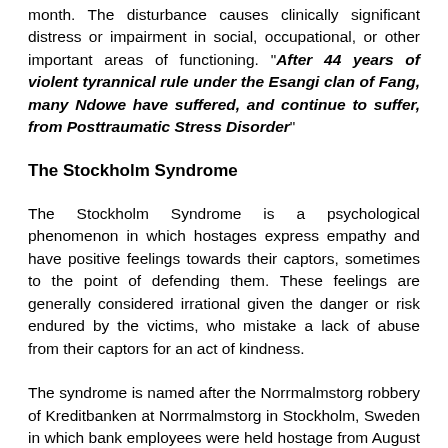month. The disturbance causes clinically significant distress or impairment in social, occupational, or other important areas of functioning. "After 44 years of violent tyrannical rule under the Esangi clan of Fang, many Ndowe have suffered, and continue to suffer, from Posttraumatic Stress Disorder"
The Stockholm Syndrome
The Stockholm Syndrome is a psychological phenomenon in which hostages express empathy and have positive feelings towards their captors, sometimes to the point of defending them. These feelings are generally considered irrational given the danger or risk endured by the victims, who mistake a lack of abuse from their captors for an act of kindness.
The syndrome is named after the Norrmalmstorg robbery of Kreditbanken at Norrmalmstorg in Stockholm, Sweden in which bank employees were held hostage from August 23 to August 28, 1973. The term «Stockholm Syndrome» was coined by the criminologist and psychiatrist Nils Bejerot, who helped the police during the robbery. It was originally defined